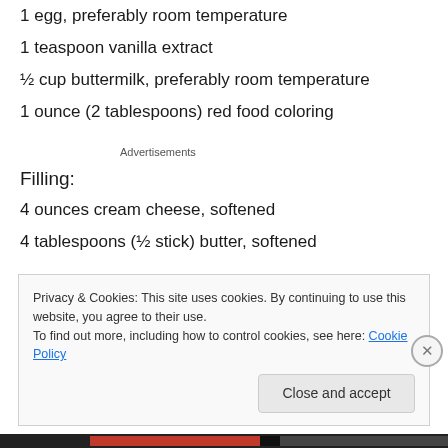1 egg, preferably room temperature
1 teaspoon vanilla extract
½ cup buttermilk, preferably room temperature
1 ounce (2 tablespoons) red food coloring
Advertisements
Filling:
4 ounces cream cheese, softened
4 tablespoons (½ stick) butter, softened
Privacy & Cookies: This site uses cookies. By continuing to use this website, you agree to their use.
To find out more, including how to control cookies, see here: Cookie Policy
Close and accept